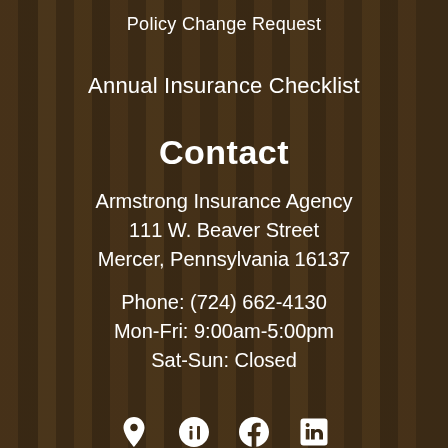Policy Change Request
Annual Insurance Checklist
Contact
Armstrong Insurance Agency
111 W. Beaver Street
Mercer, Pennsylvania 16137
Phone: (724) 662-4130
Mon-Fri: 9:00am-5:00pm
Sat-Sun: Closed
[Figure (infographic): Row of four social/location icons: map pin, Yelp, Facebook, LinkedIn]